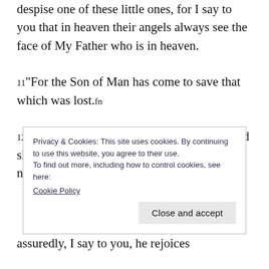despise one of these little ones, for I say to you that in heaven their angels always see the face of My Father who is in heaven.
11“For the Son of Man has come to save that which was lost.fn
12“What do you think? If a man has a hundred sheep, and one of them goes astray, does he not leave the
Privacy & Cookies: This site uses cookies. By continuing to use this website, you agree to their use.
To find out more, including how to control cookies, see here:
Cookie Policy
Close and accept
assuredly, I say to you, he rejoices